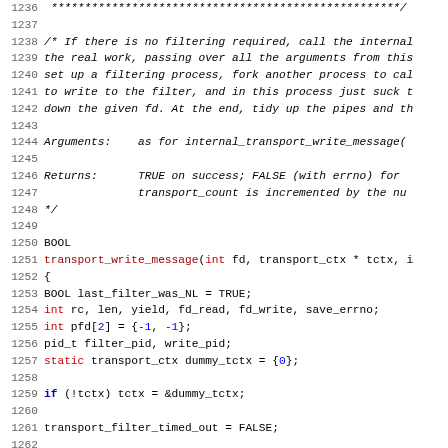[Figure (screenshot): Source code listing in C language, lines 1236-1267, showing transport_write_message function with comments and variable declarations. Code includes boolean, integer, static declarations and conditional statements.]